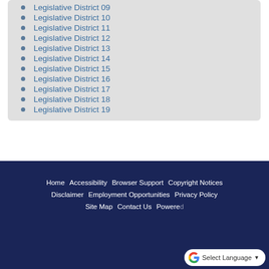Legislative District 09
Legislative District 10
Legislative District 11
Legislative District 12
Legislative District 13
Legislative District 14
Legislative District 15
Legislative District 16
Legislative District 17
Legislative District 18
Legislative District 19
Home   Accessibility   Browser Support   Copyright Notices   Disclaimer   Employment Opportunities   Privacy Policy   Site Map   Contact Us   Powered